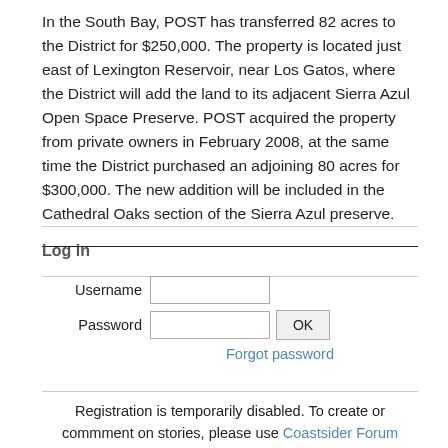In the South Bay, POST has transferred 82 acres to the District for $250,000. The property is located just east of Lexington Reservoir, near Los Gatos, where the District will add the land to its adjacent Sierra Azul Open Space Preserve. POST acquired the property from private owners in February 2008, at the same time the District purchased an adjoining 80 acres for $300,000. The new addition will be included in the Cathedral Oaks section of the Sierra Azul preserve.
Log in
Username [input field] Password [input field] OK Forgot password
Registration is temporarily disabled. To create or commment on stories, please use Coastsider Forum